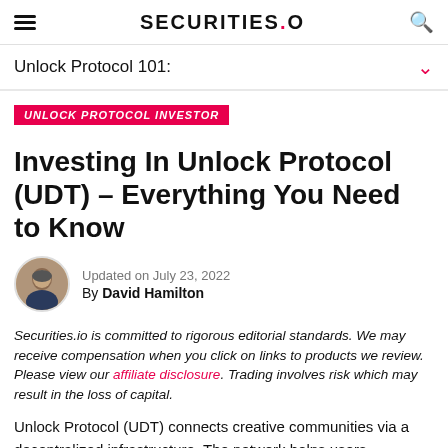SECURITIES.IO
Unlock Protocol 101:
UNLOCK PROTOCOL INVESTOR
Investing In Unlock Protocol (UDT) – Everything You Need to Know
Updated on July 23, 2022
By David Hamilton
Securities.io is committed to rigorous editorial standards. We may receive compensation when you click on links to products we review. Please view our affiliate disclosure. Trading involves risk which may result in the loss of capital.
Unlock Protocol (UDT) connects creative communities via a decentralized infrastructure. The network helps users,